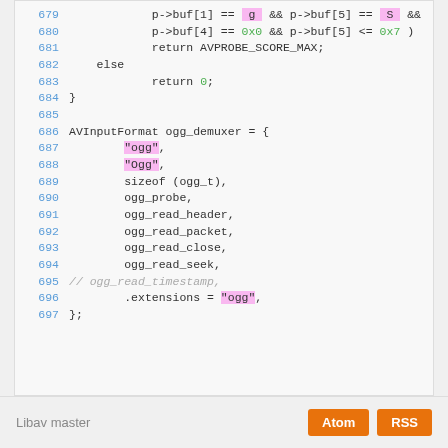[Figure (screenshot): Source code listing showing C code lines 679-697 including AVInputFormat ogg_demuxer struct definition with syntax highlighting]
Libav master  Atom  RSS